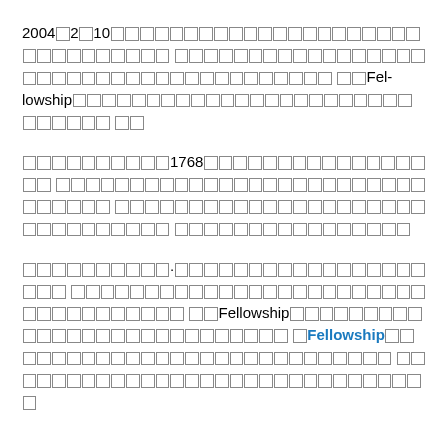2004年2月10日、[CJK text]Fel-lowship[CJK text]
[CJK text]1768[CJK text]
[CJK text]Fellowship[CJK text][bold]Fellowship[/bold][CJK text]